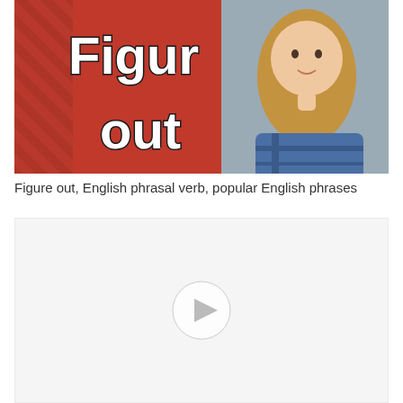[Figure (screenshot): Video thumbnail showing 'Figure out' text in white with black outline on red background, with a woman with long blonde hair wearing a plaid shirt on the right side]
Figure out, English phrasal verb, popular English phrases
[Figure (screenshot): A second video player placeholder with a light gray/white background and a circular play button icon in the center]